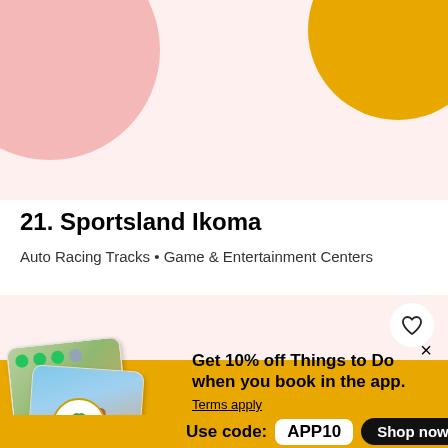[Figure (illustration): Decorative background with pink circle top-left and gold circle top-right on a light pink background]
21. Sportsland Ikoma
Auto Racing Tracks • Game & Entertainment Centers
[Figure (illustration): Heart/favorite button icon in white circle on light pink background]
[Figure (illustration): TripAdvisor promotional banner showing stacked photo cards with hiker and beach scenes, TripAdvisor owl logo, promo text and discount code]
Get 10% off Things to Do when you book in the app.
Terms apply
Use code:  APP10
Shop now